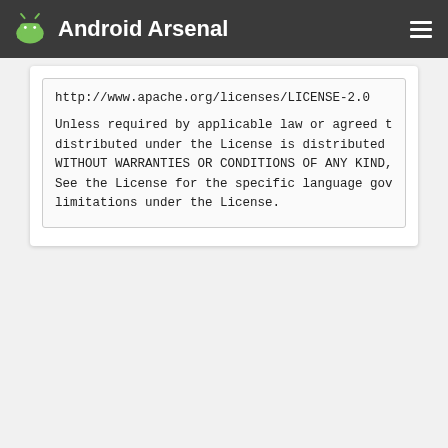Android Arsenal
http://www.apache.org/licenses/LICENSE-2.0

Unless required by applicable law or agreed to, distributed under the License is distributed o WITHOUT WARRANTIES OR CONDITIONS OF ANY KIND, See the License for the specific language gove limitations under the License.